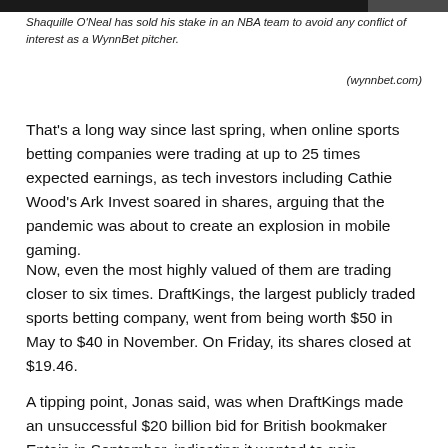[Figure (photo): Dark image strip at the top of the page, partially showing a photo background]
Shaquille O'Neal has sold his stake in an NBA team to avoid any conflict of interest as a WynnBet pitcher.
(wynnbet.com)
That's a long way since last spring, when online sports betting companies were trading at up to 25 times expected earnings, as tech investors including Cathie Wood's Ark Invest soared in shares, arguing that the pandemic was about to create an explosion in mobile gaming.
Now, even the most highly valued of them are trading closer to six times. DraftKings, the largest publicly traded sports betting company, went from being worth $50 in May to $40 in November. On Friday, its shares closed at $19.46.
A tipping point, Jonas said, was when DraftKings made an unsuccessful $20 billion bid for British bookmaker Entain in September, indicating it wanted to gain exposure outside the new US